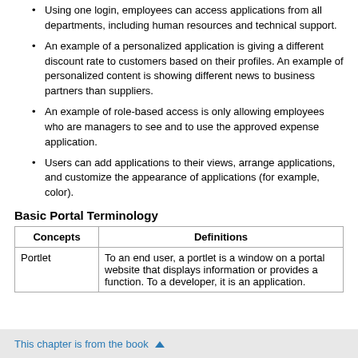Using one login, employees can access applications from all departments, including human resources and technical support.
An example of a personalized application is giving a different discount rate to customers based on their profiles. An example of personalized content is showing different news to business partners than suppliers.
An example of role-based access is only allowing employees who are managers to see and to use the approved expense application.
Users can add applications to their views, arrange applications, and customize the appearance of applications (for example, color).
Basic Portal Terminology
| Concepts | Definitions |
| --- | --- |
| Portlet | To an end user, a portlet is a window on a portal website that displays information or provides a function. To a developer, it is an application. |
This chapter is from the book